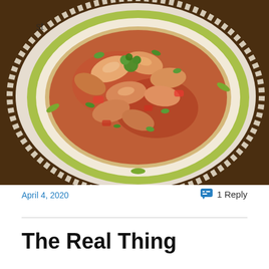[Figure (photo): Overhead photo of a bowl of shrimp in tomato sauce served over grits or polenta, garnished with fresh green herbs, placed on a white lace doily on a wooden table]
April 4, 2020
1 Reply
The Real Thing